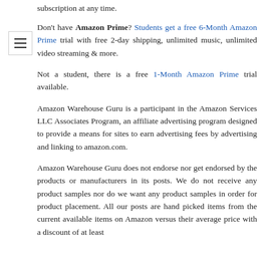subscription at any time.
Don't have Amazon Prime? Students get a free 6-Month Amazon Prime trial with free 2-day shipping, unlimited music, unlimited video streaming & more.
Not a student, there is a free 1-Month Amazon Prime trial available.
Amazon Warehouse Guru is a participant in the Amazon Services LLC Associates Program, an affiliate advertising program designed to provide a means for sites to earn advertising fees by advertising and linking to amazon.com.
Amazon Warehouse Guru does not endorse nor get endorsed by the products or manufacturers in its posts. We do not receive any product samples nor do we want any product samples in order for product placement. All our posts are hand picked items from the current available items on Amazon versus their average price with a discount of at least